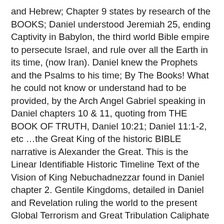and Hebrew; Chapter 9 states by research of the BOOKS; Daniel understood Jeremiah 25, ending Captivity in Babylon, the third world Bible empire to persecute Israel, and rule over all the Earth in its time, (now Iran). Daniel knew the Prophets and the Psalms to his time; By The Books! What he could not know or understand had to be provided, by the Arch Angel Gabriel speaking in Daniel chapters 10 & 11, quoting from THE BOOK OF TRUTH, Daniel 10:21; Daniel 11:1-2, etc …the Great King of the historic BIBLE narrative is Alexander the Great. This is the Linear Identifiable Historic Timeline Text of the Vision of King Nebuchadnezzar found in Daniel chapter 2. Gentile Kingdoms, detailed in Daniel and Revelation ruling the world to the present Global Terrorism and Great Tribulation Caliphate State; until the Times of the Gentiles Prophecy is Fulfilled by the Battle called Armageddon and the Return of Messiah, the Anointed Christ to rule the Eternal World, Isaiah 66. The Seed of the Woman has completed the Single Prophecy of Genesis 3:15. DISCOVER | RESEARCH BY THE BOOKS! Site Logo 911 SEPTEMBER 11 From the book of Matthew, the tares (wicked) are being gathered into easily identifiable bundles, ready for burning. Matthew 13:30. Since the end of the four empires of Nebuchadnezzar's dream there has